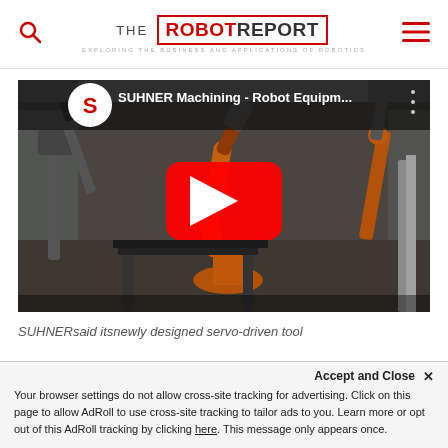THE ROBOTREPORT — EXPLORING THE BUSINESS AND APPLICATIONS OF ROBOTICS
[Figure (screenshot): YouTube video thumbnail showing SUHNER Machining - Robot Equipm... with a large industrial orange robot arm visible in a glass enclosure, YouTube play button overlay in center, SUHNER logo (red 'S' on white circle) in top-left corner]
SUHNERsaid itsnewly designed servo-driven tool motors provide high
Accept and Close ✕
Your browser settings do not allow cross-site tracking for advertising. Click on this page to allow AdRoll to use cross-site tracking to tailor ads to you. Learn more or opt out of this AdRoll tracking by clicking here. This message only appears once.